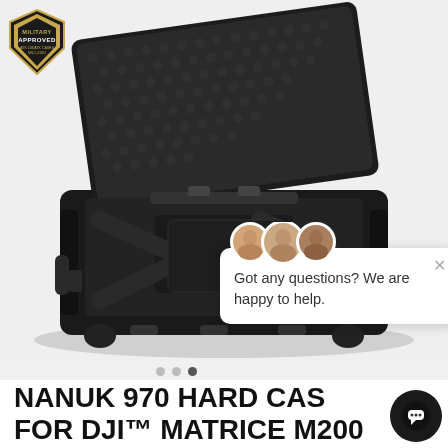[Figure (photo): Black NANUK 970 hard case open with foam insert shaped for DJI Matrice M200 drone, photographed on light grey background]
[Figure (logo): Military Approved badge/seal in gold and black in the top-left corner]
[Figure (infographic): Chat support popup with three agent avatars and text: Got any questions? We are happy to help. with an X close button]
NANUK 970 HARD CASE FOR DJI™ MATRICE M200